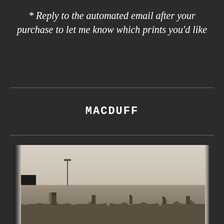* Reply to the automated email after your purchase to let me know which prints you'd like
MACDUFF
[Figure (photo): Black and white photograph of a rooftop urban skyline, likely Macduff, Scotland. Shows rows of stone buildings with chimney pots, a street lamp in the foreground, and a pale overcast sky. The photograph has dark borders/edges typical of darkroom printing.]